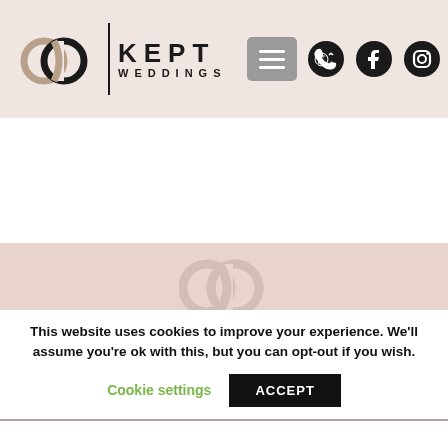[Figure (logo): Kept Weddings logo with interlinked rings icon, vertical divider, and KEPT WEDDINGS text]
[Figure (other): Hamburger menu button (three horizontal lines) in grey rounded box]
[Figure (other): Phone and email icon, Facebook and Instagram icons in header top right]
[Figure (other): Faint Kept Weddings watermark logo on pink background]
Wedding Planner | Wedding Day Management
01626 248468   laura@keptweddings.co.uk
[Figure (other): Facebook and Instagram social media icons]
This website uses cookies to improve your experience. We'll assume you're ok with this, but you can opt-out if you wish.
Cookie settings   ACCEPT